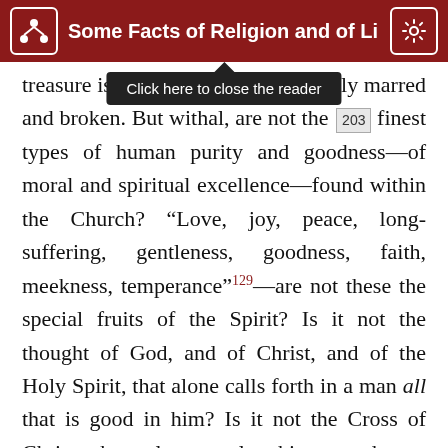Some Facts of Religion and of Li
treasure is [obscured] sels strangely marred and broken. But withal, are not the 203 finest types of human purity and goodness—of moral and spiritual excellence—found within the Church? “Love, joy, peace, long-suffering, gentleness, goodness, faith, meekness, temperance”129—are not these the special fruits of the Spirit? Is it not the thought of God, and of Christ, and of the Holy Spirit, that alone calls forth in a man all that is good in him? Is it not the Cross of Christ that alone melts him to devout humility or touches him to holiest tenderness? When the soul, long wandering in darkness, has turned into the